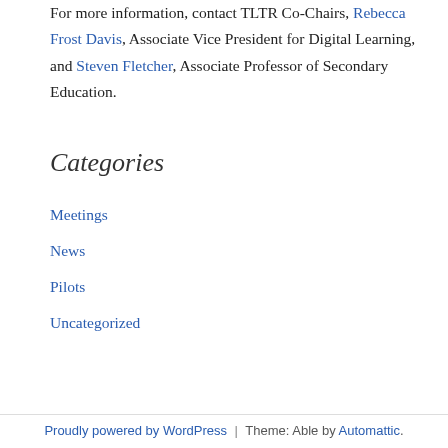For more information, contact TLTR Co-Chairs, Rebecca Frost Davis, Associate Vice President for Digital Learning, and Steven Fletcher, Associate Professor of Secondary Education.
Categories
Meetings
News
Pilots
Uncategorized
Proudly powered by WordPress | Theme: Able by Automattic.